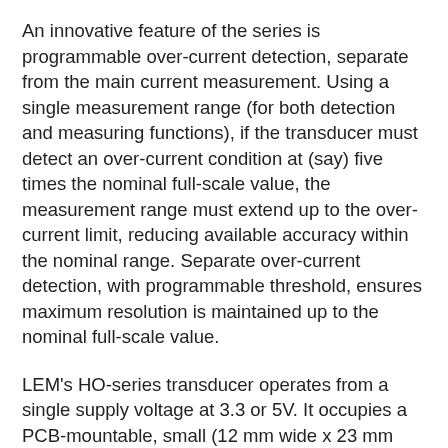An innovative feature of the series is programmable over-current detection, separate from the main current measurement. Using a single measurement range (for both detection and measuring functions), if the transducer must detect an over-current condition at (say) five times the nominal full-scale value, the measurement range must extend up to the over-current limit, reducing available accuracy within the nominal range. Separate over-current detection, with programmable threshold, ensures maximum resolution is maintained up to the nominal full-scale value.
LEM's HO-series transducer operates from a single supply voltage at 3.3 or 5V. It occupies a PCB-mountable, small (12 mm wide x 23 mm long x 12 mm high), lightweight (5g) package which incorporates three separate primary conductors to allow for multi-range measurement configurations (enabling nominal measurement as low as 2.67 ARMS when programmed at 8 ARMS for the nominal range). Versions of the HO-series transducers will be available for both through-hole and surface-mount assembly. The construction